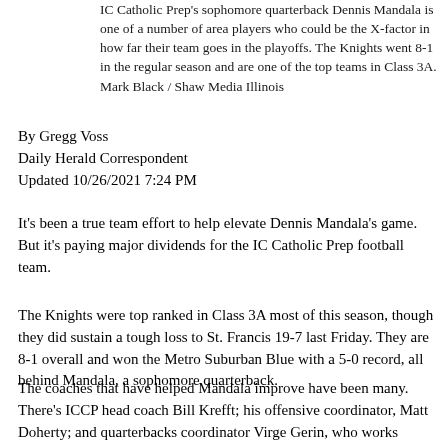IC Catholic Prep's sophomore quarterback Dennis Mandala is one of a number of area players who could be the X-factor in how far their team goes in the playoffs. The Knights went 8-1 in the regular season and are one of the top teams in Class 3A. Mark Black / Shaw Media Illinois
By Gregg Voss
Daily Herald Correspondent
Updated 10/26/2021 7:24 PM
It's been a true team effort to help elevate Dennis Mandala's game. But it's paying major dividends for the IC Catholic Prep football team.
The Knights were top ranked in Class 3A most of this season, though they did sustain a tough loss to St. Francis 19-7 last Friday. They are 8-1 overall and won the Metro Suburban Blue with a 5-0 record, all behind Mandala, a sophomore quarterback.
The coaches that have helped Mandala improve have been many. There's ICCP head coach Bill Krefft; his offensive coordinator, Matt Doherty; and quarterbacks coordinator Virge Gerin, who works closely with wide receivers coach Bill Schmidt.